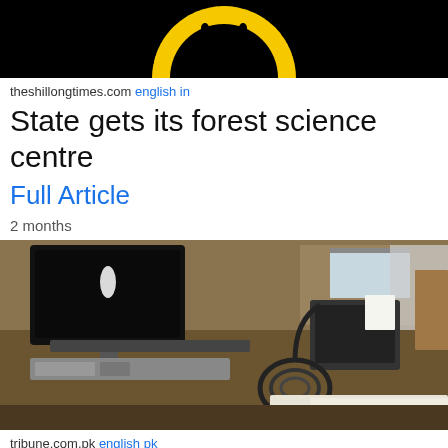[Figure (photo): Partial circular logo on black background with text 'OF FORESTRY RESEARCH A' in yellow arc]
theshillongtimes.com english in
State gets its forest science centre
Full Article
2 months
[Figure (photo): Hospital room with medical monitor/TV on mount, medical equipment, cables, and a bed in the background]
tribune.com.pk english pk
CDA Hospital gets new facilitation centre